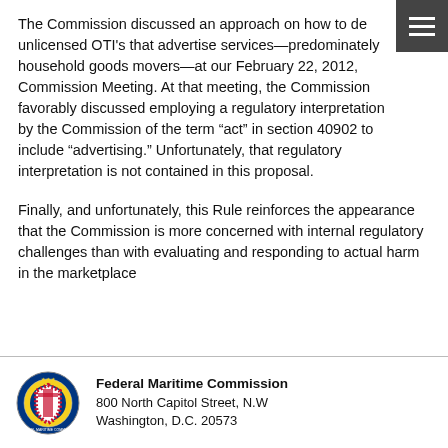The Commission discussed an approach on how to deal unlicensed OTI's that advertise services—predominately household goods movers—at our February 22, 2012, Commission Meeting. At that meeting, the Commission favorably discussed employing a regulatory interpretation by the Commission of the term “act” in section 40902 to include “advertising.” Unfortunately, that regulatory interpretation is not contained in this proposal.
Finally, and unfortunately, this Rule reinforces the appearance that the Commission is more concerned with internal regulatory challenges than with evaluating and responding to actual harm in the marketplace
[Figure (logo): Federal Maritime Commission seal/logo]
Federal Maritime Commission
800 North Capitol Street, N.W
Washington, D.C.